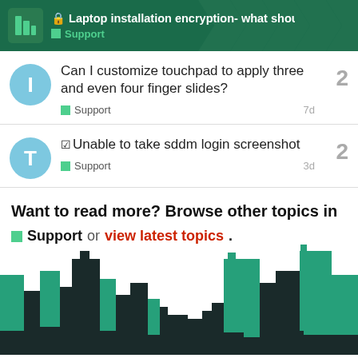🔒 Laptop installation encryption- what should i c... | Support
Can I customize touchpad to apply three and even four finger slides? | Support | 7d | 2 replies
☑ Unable to take sddm login screenshot | Support | 3d | 2 replies
Want to read more? Browse other topics in
■ Support or view latest topics.
[Figure (illustration): City skyline silhouette with teal/green and dark buildings at the bottom of the page]